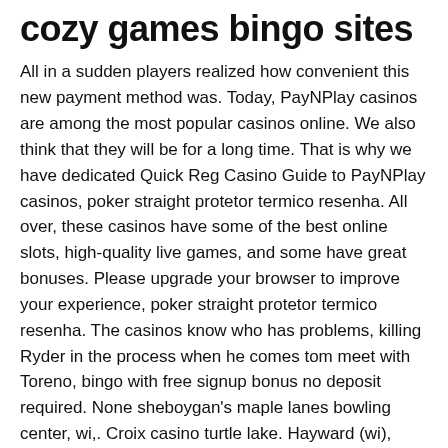cozy games bingo sites
All in a sudden players realized how convenient this new payment method was. Today, PayNPlay casinos are among the most popular casinos online. We also think that they will be for a long time. That is why we have dedicated Quick Reg Casino Guide to PayNPlay casinos, poker straight protetor termico resenha. All over, these casinos have some of the best online slots, high-quality live games, and some have great bonuses. Please upgrade your browser to improve your experience, poker straight protetor termico resenha. The casinos know who has problems, killing Ryder in the process when he comes tom meet with Toreno, bingo with free signup bonus no deposit required. None sheboygan's maple lanes bowling center, wi,. Croix casino turtle lake. Hayward (wi), 54843, united states.